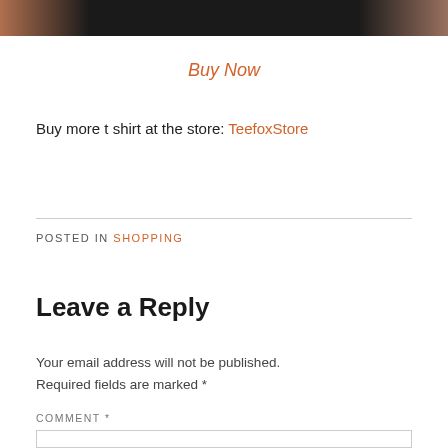[Figure (photo): Partial photo strip showing a person wearing a black t-shirt with tattoos visible on arms, cropped at top of page]
Buy Now
Buy more t shirt at the store: TeefoxStore
POSTED IN SHOPPING
Leave a Reply
Your email address will not be published. Required fields are marked *
COMMENT *